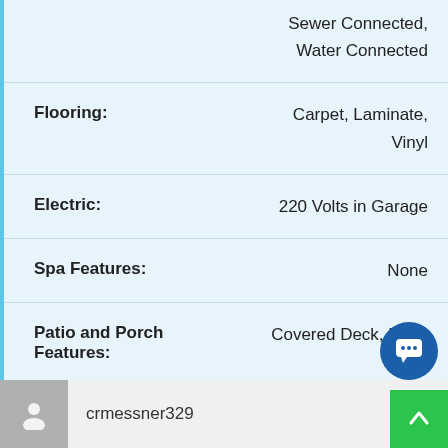| Field | Value |
| --- | --- |
|  | Sewer Connected, Water Connected |
| Flooring: | Carpet, Laminate, Vinyl |
| Electric: | 220 Volts in Garage |
| Spa Features: | None |
| Patio and Porch Features: | Covered Deck, Front Porch |
crmessner329